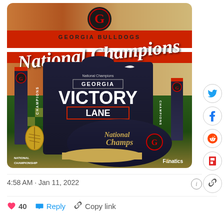[Figure (photo): Georgia Bulldogs National Champions merchandise image showing a dark navy t-shirt with 'GEORGIA VICTORY LANE' text, a matching cap with 'National Champs' script, and championship banners on a football field background with red/white stripes. Includes Georgia G logo at top, 'GEORGIA BULLDOGS' text, and 'National Champions' in script. Fanatics branding in bottom right corner.]
4:58 AM · Jan 11, 2022
40
Reply
Copy link